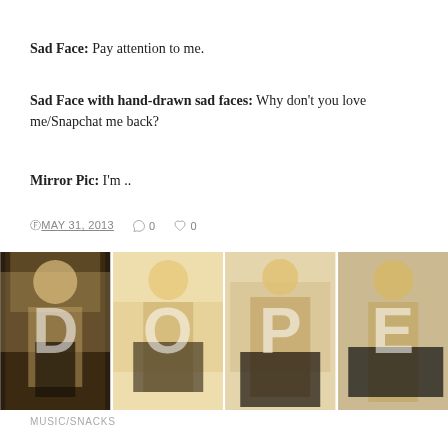Sad Face: Pay attention to me.
Sad Face with hand-drawn sad faces: Why don't you love me/Snapchat me back?
Mirror Pic: I'm ..
MAY 31, 2013  0  0
[Figure (photo): Four mirror selfie photos of a blonde woman arranged side by side with large letters D, O, P, E overlaid on them spelling DOPE]
MUSIC/SNACKS